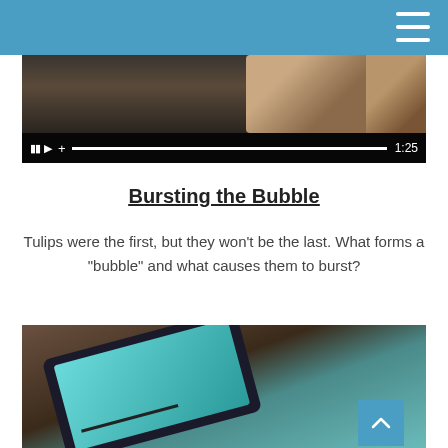[Figure (screenshot): Video player showing media controls (pause, play, plus), a progress bar, and timestamp 1:25 over a dark video thumbnail of hands holding a device]
Bursting the Bubble
Tulips were the first, but they won't be the last. What forms a "bubble" and what causes them to burst?
[Figure (photo): Close-up photo of a tablet device showing a colorful screen, lying on a textured surface]